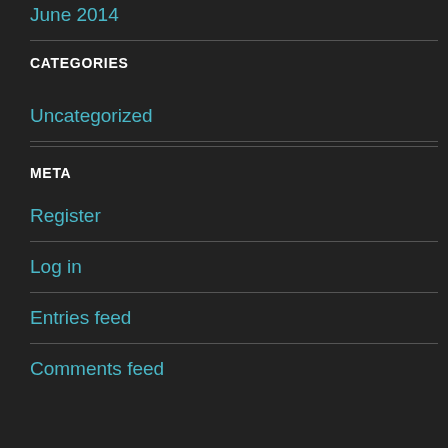June 2014
CATEGORIES
Uncategorized
META
Register
Log in
Entries feed
Comments feed